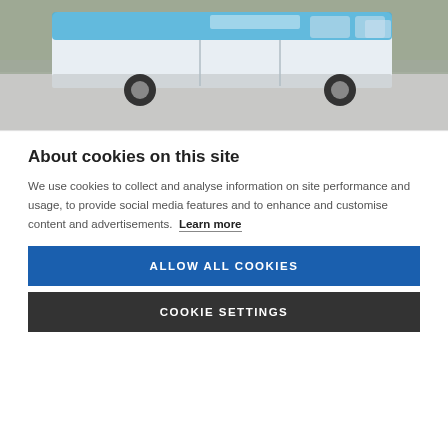[Figure (photo): A blue and white branded van/transit vehicle driving on a road, photographed from the side with motion blur background showing green trees.]
About cookies on this site
We use cookies to collect and analyse information on site performance and usage, to provide social media features and to enhance and customise content and advertisements. Learn more
ALLOW ALL COOKIES
COOKIE SETTINGS